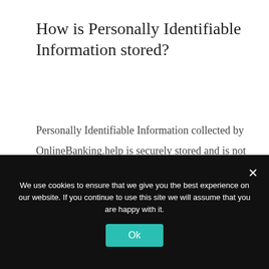How is Personally Identifiable Information stored?
Personally Identifiable Information collected by OnlineBanking.help is securely stored and is not accessible to third parties or employees of OnlineBanking.help except for use as indicated above.
What choices are available to Visitors regarding collection, use, and
We use cookies to ensure that we give you the best experience on our website. If you continue to use this site we will assume that you are happy with it.